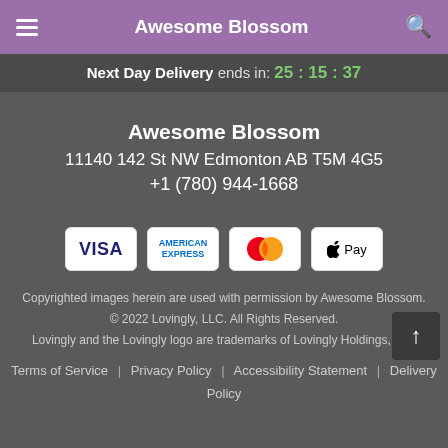Awesome Blossom
Next Day Delivery ends in: 25:15:37
Awesome Blossom
11140 142 St NW Edmonton AB T5M 4G5
+1 (780) 944-1668
[Figure (logo): Payment icons: VISA, American Express, Mastercard, Apple Pay]
Copyrighted images herein are used with permission by Awesome Blossom.
© 2022 Lovingly, LLC. All Rights Reserved.
Lovingly and the Lovingly logo are trademarks of Lovingly Holdings, LLC
Terms of Service | Privacy Policy | Accessibility Statement | Delivery Policy